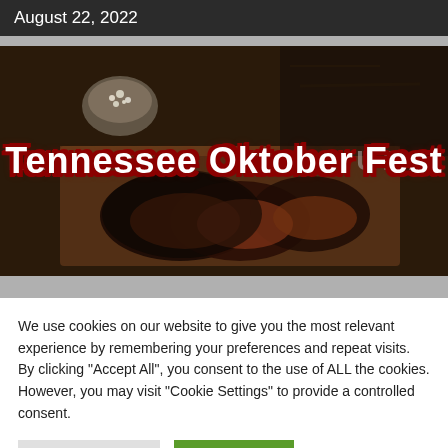August 22, 2022
[Figure (photo): Hero image of BBQ/barbecue meat on a cutting board with a bowl of spices, overlaid with text 'TENNESSEE OKTOBER FEST' in white with red outline, and faint background text 'LEGENDARY BARBECUE.']
We use cookies on our website to give you the most relevant experience by remembering your preferences and repeat visits. By clicking "Accept All", you consent to the use of ALL the cookies. However, you may visit "Cookie Settings" to provide a controlled consent.
Cookie Settings
Accept All